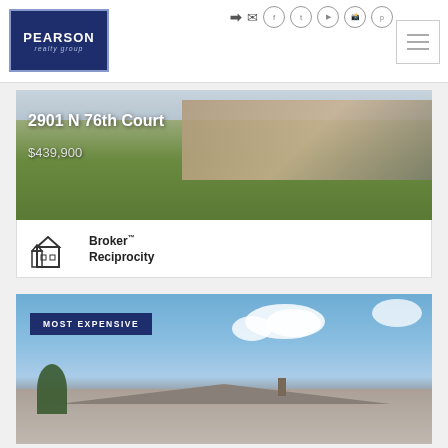[Figure (logo): Pearson Realty Group logo - white text on dark navy blue background]
[Figure (screenshot): Social media icons: login arrow, email, Facebook, Twitter, YouTube, Instagram, Pinterest]
[Figure (photo): House exterior photo with text overlay: 2901 N 76th Court, $439,900]
2901 N 76th Court
$439,900
[Figure (logo): Broker Reciprocity logo with house icon]
Broker Reciprocity
[Figure (photo): House exterior photo with blue sky and clouds, MOST EXPENSIVE badge overlay]